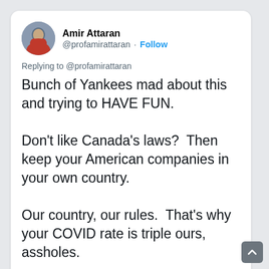Amir Attaran @profamirattaran · Follow
Replying to @profamirattaran
Bunch of Yankees mad about this and trying to HAVE FUN.

Don't like Canada's laws?  Then keep your American companies in your own country.

Our country, our rules.  That's why your COVID rate is triple ours, assholes.
2:47 PM · Jun 19, 2022
♡ 405   ⚡ See the latest COVID-19 information on Twi…
Read 2.1K replies